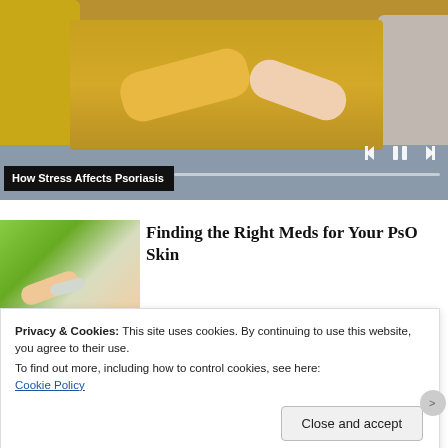[Figure (photo): Person in yellow sweater scratching their arm, seated on a sofa with yellow and grey cushions. Media player controls and progress bar overlay visible.]
How Stress Affects Psoriasis
[Figure (photo): Thumbnail image of hands holding a small cream/medication tube outdoors with green background.]
Finding the Right Meds for Your PsO Skin
Privacy & Cookies: This site uses cookies. By continuing to use this website, you agree to their use.
To find out more, including how to control cookies, see here:
Cookie Policy
Close and accept